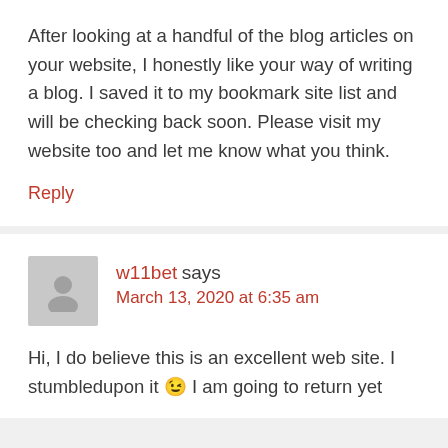After looking at a handful of the blog articles on your website, I honestly like your way of writing a blog. I saved it to my bookmark site list and will be checking back soon. Please visit my website too and let me know what you think.
Reply
w11bet says
March 13, 2020 at 6:35 am
Hi, I do believe this is an excellent web site. I stumbledupon it 😉 I am going to return yet